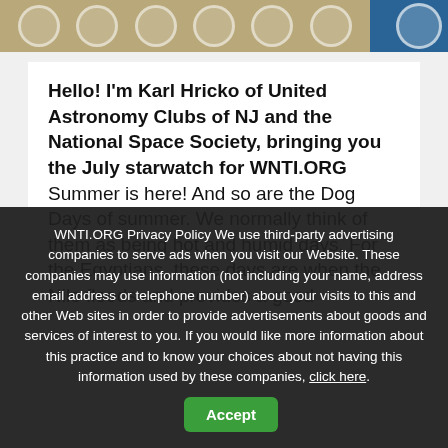[Navigation header bar with icons]
Hello! I'm Karl Hricko of United Astronomy Clubs of NJ and the National Space Society, bringing you the July starwatch for WNTI.ORG
Summer is here! And so are the Dog Days of summer. We normally think of them as being hot and humid days. For the Egyptians, these days are when the Nile floods and provides a good
WNTI.ORG Privacy Policy We use third-party advertising companies to serve ads when you visit our Website. These companies may use information (not including your name, address email address or telephone number) about your visits to this and other Web sites in order to provide advertisements about goods and services of interest to you. If you would like more information about this practice and to know your choices about not having this information used by these companies, click here.